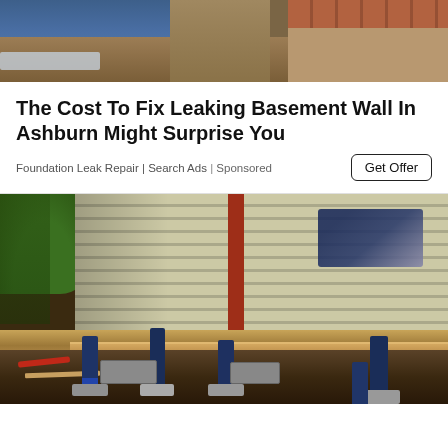[Figure (photo): Construction workers digging near a foundation, showing exposed dirt, gray waterproofing sheet, and brick wall in background]
The Cost To Fix Leaking Basement Wall In Ashburn Might Surprise You
Foundation Leak Repair | Search Ads | Sponsored
[Figure (photo): House foundation repair scene showing home siding being lifted with hydraulic jacks on concrete blocks, lumber scattered on ground, blue cloth visible on top, green trees in background]